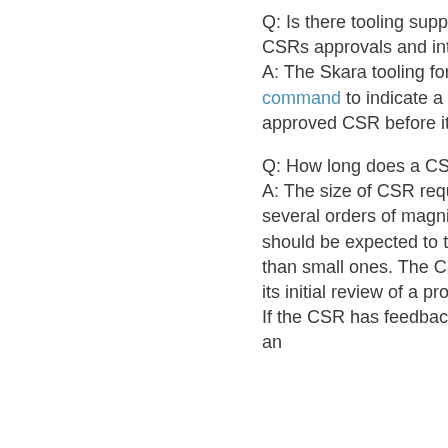Q: Is there tooling support to help manage CSRs approvals and integrating bug fixes?
A: The Skara tooling for Git has a pull request command to indicate a change needs an approved CSR before it can be integrated.
Q: How long does a CSR review take?
A: The size of CSR requests varies over several orders of magnitudes. Large requests should be expected to take longer to review than small ones. The CSR strives to complete its initial review of a proposal within one week. If the CSR has feedback, the time its takes for an